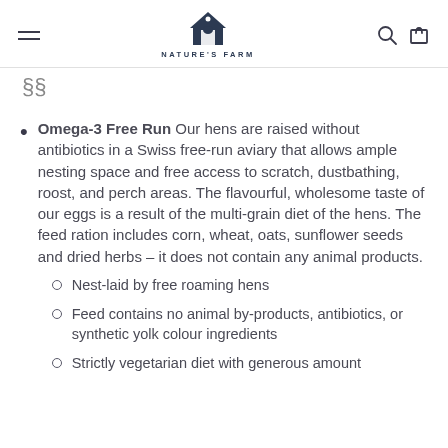Nature's Farm — navigation header with logo, hamburger menu, search and cart icons
§§
Omega-3 Free Run Our hens are raised without antibiotics in a Swiss free-run aviary that allows ample nesting space and free access to scratch, dustbathing, roost, and perch areas. The flavourful, wholesome taste of our eggs is a result of the multi-grain diet of the hens. The feed ration includes corn, wheat, oats, sunflower seeds and dried herbs – it does not contain any animal products.
Nest-laid by free roaming hens
Feed contains no animal by-products, antibiotics, or synthetic yolk colour ingredients
Strictly vegetarian diet with generous amount